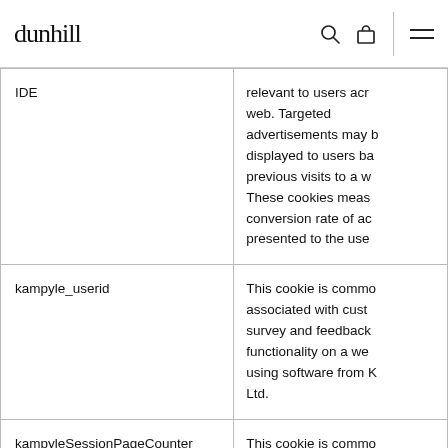dunhill
| Cookie Name | Description |
| --- | --- |
| IDE | relevant to users acr... web. Targeted advertisements may b... displayed to users ba... previous visits to a w... These cookies meas... conversion rate of ac... presented to the use... |
| kampyle_userid | This cookie is commo... associated with cust... survey and feedback ... functionality on a we... using software from K... Ltd. |
| kampyleSessionPageCounter | This cookie is commo... associated with cust... survey and feedback... functionality on a we... using software from K... |